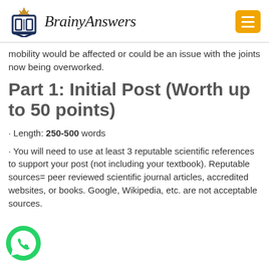BrainyAnswers
mobility would be affected or could be an issue with the joints now being overworked.
Part 1: Initial Post (Worth up to 50 points)
· Length: 250-500 words
· You will need to use at least 3 reputable scientific references to support your post (not including your textbook). Reputable sources= peer reviewed scientific journal articles, accredited websites, or books. Google, Wikipedia, etc. are not acceptable sources.
[Figure (logo): WhatsApp green phone icon]